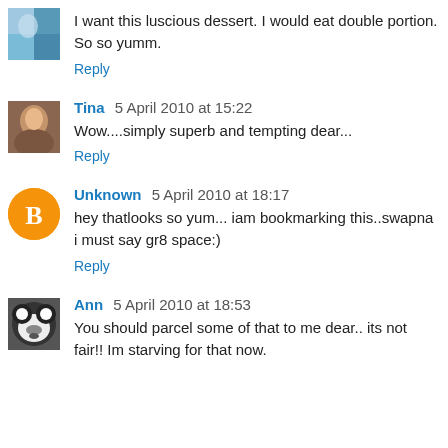[Figure (photo): Small avatar image, top-left, colorful thumbnail]
I want this luscious dessert. I would eat double portion. So so yumm.
Reply
[Figure (photo): Small avatar image of Tina]
Tina 5 April 2010 at 15:22
Wow....simply superb and tempting dear...
Reply
[Figure (illustration): Orange circle blogger icon with B letter]
Unknown 5 April 2010 at 18:17
hey thatlooks so yum... iam bookmarking this..swapna i must say gr8 space:)
Reply
[Figure (photo): Small avatar image of Ann, panda photo]
Ann 5 April 2010 at 18:53
You should parcel some of that to me dear.. its not fair!! Im starving for that now.